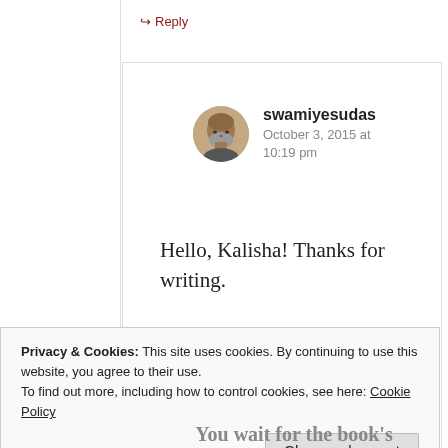↪ Reply
[Figure (photo): Circular avatar photo of a man with grey beard and bald head]
swamiyesudas
October 3, 2015 at 10:19 pm
Hello, Kalisha! Thanks for writing.
Privacy & Cookies: This site uses cookies. By continuing to use this website, you agree to their use.
To find out more, including how to control cookies, see here: Cookie Policy
Close and accept
You wait for the book's